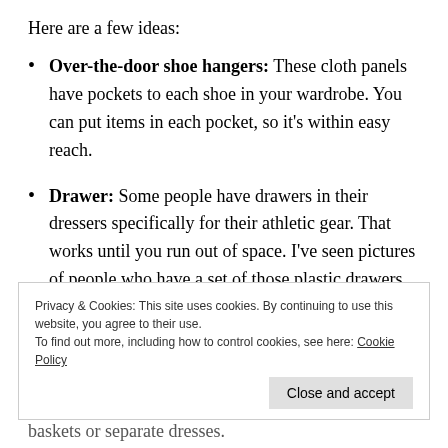Here are a few ideas:
Over-the-door shoe hangers: These cloth panels have pockets to each shoe in your wardrobe. You can put items in each pocket, so it's within easy reach.
Drawer: Some people have drawers in their dressers specifically for their athletic gear. That works until you run out of space. I've seen pictures of people who have a set of those plastic drawers with their athletic gear.
Privacy & Cookies: This site uses cookies. By continuing to use this website, you agree to their use.
To find out more, including how to control cookies, see here: Cookie Policy
baskets or separate dresses.